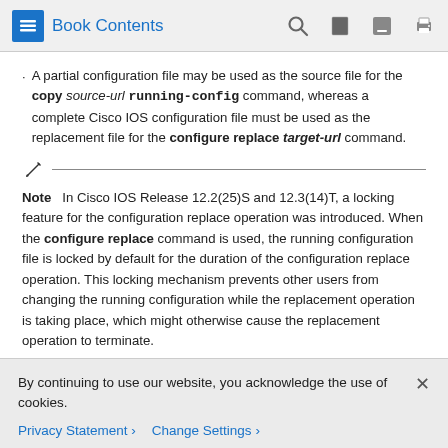Book Contents
A partial configuration file may be used as the source file for the copy source-url running-config command, whereas a complete Cisco IOS configuration file must be used as the replacement file for the configure replace target-url command.
Note   In Cisco IOS Release 12.2(25)S and 12.3(14)T, a locking feature for the configuration replace operation was introduced. When the configure replace command is used, the running configuration file is locked by default for the duration of the configuration replace operation. This locking mechanism prevents other users from changing the running configuration while the replacement operation is taking place, which might otherwise cause the replacement operation to terminate.
By continuing to use our website, you acknowledge the use of cookies.
Privacy Statement   Change Settings